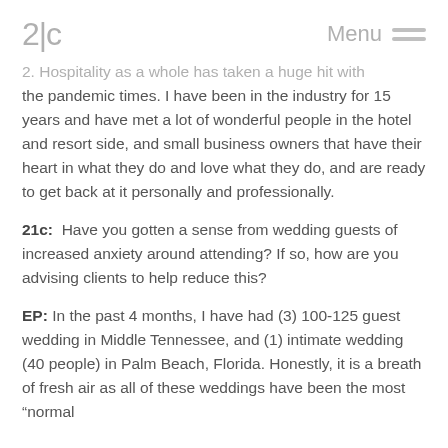2c  Menu
2. Hospitality as a whole has taken a huge hit with the pandemic times. I have been in the industry for 15 years and have met a lot of wonderful people in the hotel and resort side, and small business owners that have their heart in what they do and love what they do, and are ready to get back at it personally and professionally.
21c:  Have you gotten a sense from wedding guests of increased anxiety around attending? If so, how are you advising clients to help reduce this?
EP:  In the past 4 months, I have had (3) 100-125 guest wedding in Middle Tennessee, and (1) intimate wedding (40 people) in Palm Beach, Florida. Honestly, it is a breath of fresh air as all of these weddings have been the most “normal